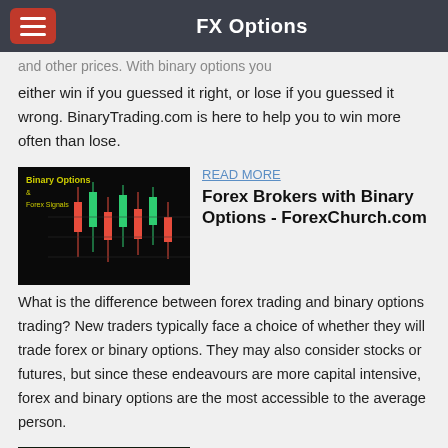FX Options
and other prices. With binary options you either win if you guessed it right, or lose if you guessed it wrong. BinaryTrading.com is here to help you to win more often than lose.
[Figure (screenshot): Binary Options & Forex Signals candlestick chart screenshot with green and red candles on black background]
READ MORE
Forex Brokers with Binary Options - ForexChurch.com
What is the difference between forex trading and binary options trading? New traders typically face a choice of whether they will trade forex or binary options. They may also consider stocks or futures, but since these endeavours are more capital intensive, forex and binary options are the most accessible to the average person.
[Figure (screenshot): Trading chart screenshot showing price action with candlestick patterns]
READ MORE
Binary Options | Binary.com